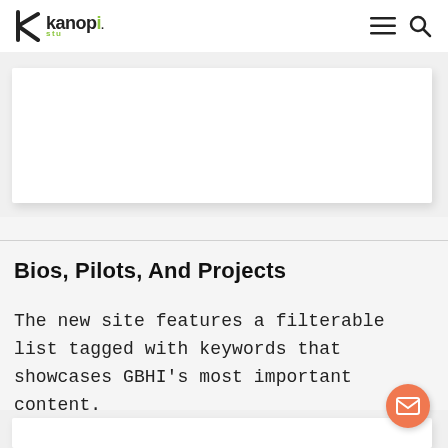kanopi studio — navigation header with hamburger and search icons
[Figure (screenshot): White card on light grey background, partially visible]
Bios, Pilots, And Projects
The new site features a filterable list tagged with keywords that showcases GBHI's most important content.
[Figure (screenshot): Bottom partial white card visible on grey background with orange mail/envelope floating button]